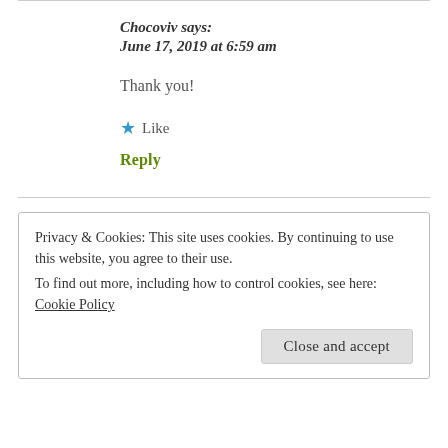Chocoviv says:
June 17, 2019 at 6:59 am
Thank you!
★ Like
Reply
Privacy & Cookies: This site uses cookies. By continuing to use this website, you agree to their use.
To find out more, including how to control cookies, see here: Cookie Policy
Close and accept